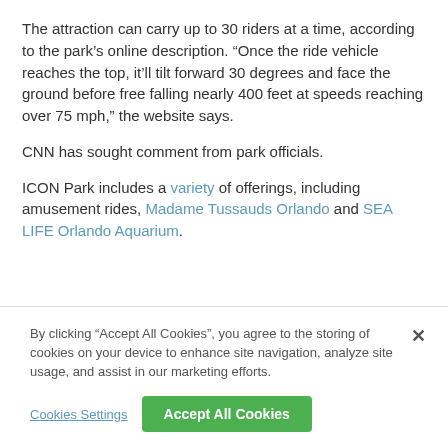The attraction can carry up to 30 riders at a time, according to the park’s online description. “Once the ride vehicle reaches the top, it’ll tilt forward 30 degrees and face the ground before free falling nearly 400 feet at speeds reaching over 75 mph,” the website says.
CNN has sought comment from park officials.
ICON Park includes a variety of offerings, including amusement rides, Madame Tussauds Orlando and SEA LIFE Orlando Aquarium.
By clicking “Accept All Cookies”, you agree to the storing of cookies on your device to enhance site navigation, analyze site usage, and assist in our marketing efforts.
Cookies Settings
Accept All Cookies